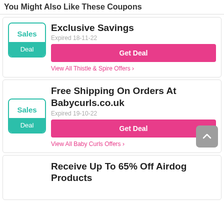You Might Also Like These Coupons
Exclusive Savings
Expired 18-11-22
Get Deal
View All Thistle & Spire Offers
Free Shipping On Orders At Babycurls.co.uk
Expired 19-10-22
Get Deal
View All Baby Curls Offers
Receive Up To 65% Off Airdog Products